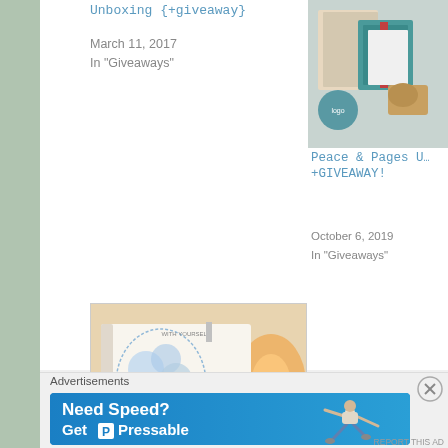Unboxing {+giveaway}
March 11, 2017
In "Giveaways"
[Figure (photo): Photo of books and items from a subscription box unboxing]
Peace & Pages Unboxing +GIVEAWAY!
October 6, 2019
In "Giveaways"
[Figure (photo): Photo of a journal open to a page with a blue floral illustration and a 'Be gentle' card with purple flowers, with a paintbrush and candles in background]
Be #Joyful with The Joy Project Subscription Box! {+giveaway}
Advertisements
[Figure (screenshot): Advertisement banner: Need Speed? Get Pressable - with an illustration of a person flying]